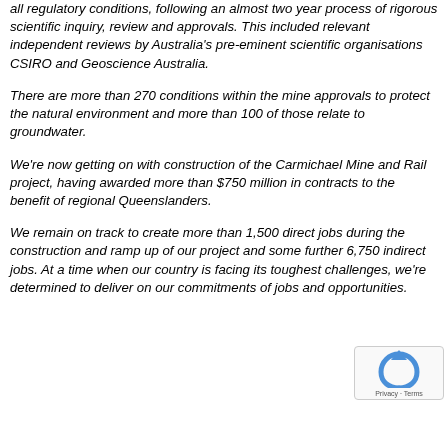all regulatory conditions, following an almost two year process of rigorous scientific inquiry, review and approvals. This included relevant independent reviews by Australia's pre-eminent scientific organisations CSIRO and Geoscience Australia.
There are more than 270 conditions within the mine approvals to protect the natural environment and more than 100 of those relate to groundwater.
We're now getting on with construction of the Carmichael Mine and Rail project, having awarded more than $750 million in contracts to the benefit of regional Queenslanders.
We remain on track to create more than 1,500 direct jobs during the construction and ramp up of our project and some further 6,750 indirect jobs. At a time when our country is facing its toughest challenges, we're determined to deliver on our commitments of jobs and opportunities.